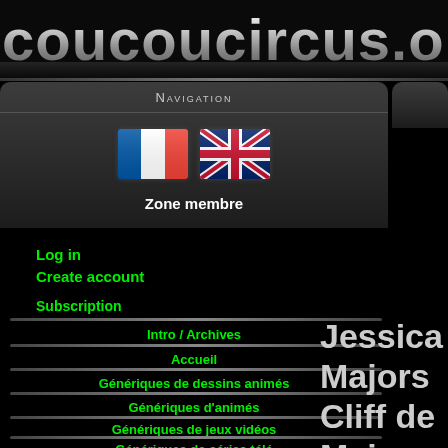coucoucircus.or
Navigation
[Figure (illustration): French flag and UK flag icons]
Zone membre
Log in
Create account
Subscription
Intro / Archives
Accueil
Génériques de dessins animés
Génériques d'animés
Génériques de jeux vidéos
Génériques de séries télé
Jessica Majors Cliff de Majors